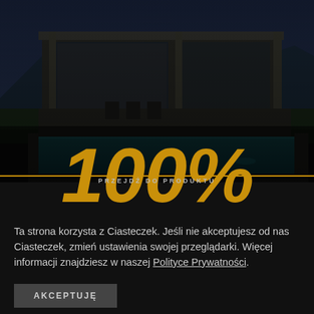[Figure (photo): Dark nighttime photo of a modern house with pergola, outdoor seating area, and swimming pool, with mountains in background]
100%
PRZEJDŹ DO PRODUKTU
Ta strona korzysta z Ciasteczek. Jeśli nie akceptujesz od nas Ciasteczek, zmień ustawienia swojej przeglądarki. Więcej informacji znajdziesz w naszej Polityce Prywatności.
AKCEPTUJĘ